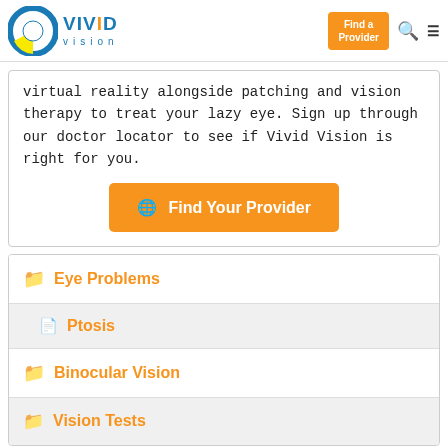Vivid Vision | Find a Provider
virtual reality alongside patching and vision therapy to treat your lazy eye. Sign up through our doctor locator to see if Vivid Vision is right for you.
[Figure (other): Orange 'Find Your Provider' button with globe icon]
Eye Problems
Ptosis
Binocular Vision
Vision Tests